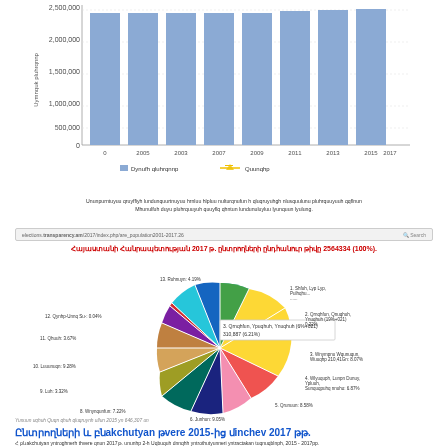[Figure (bar-chart): Voters population by year]
Ununpurntuyuu qruyffiyh lundunquurtnuyuu hrnluu hlpluu nulturqnufun h qluqruyuhgh nlusquulunu pluhrquuyuuh qqflnun Mhunulfuh duyu pluhrquuyuh quuyflq qhntun lundunuluyluu lyunquun lyulung.
elections.transparency.am/2017/index.php/are_population2001-2017.26
Հայաստանի Հանրապետության 2017 թ. ընտրողների ընդհանուր թիվը 2564334 (100%).
[Figure (pie-chart): Armenia 2017 voters by region pie chart]
Yunuun uqhuh Quqn qhuh qluqruynh ullun 2015 yn 646,307 un
Ընտրողների և բնակչության թվերը 2015-ից մինչև 2017 թթ.
Հ բնակչության ընտրողների թվերը qnun 2017թ. ununhp 2-h Uqbuquh dnnqhh ընտրությունների ընտրական տuqnuqblnph, 2015 - 2017pp.